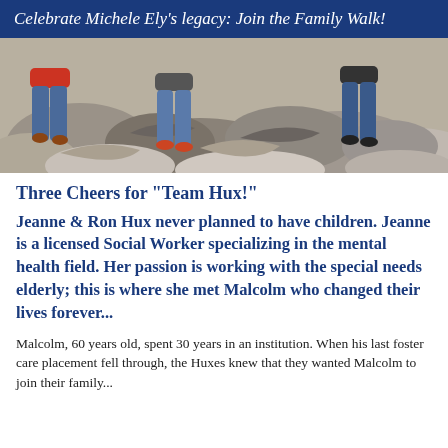Celebrate Michele Ely's legacy: Join the Family Walk!
[Figure (photo): Photo of people sitting on large rocks outdoors, showing jeans and casual clothing from waist down]
Three Cheers for "Team Hux!"
Jeanne & Ron Hux never planned to have children. Jeanne is a licensed Social Worker specializing in the mental health field. Her passion is working with the special needs elderly; this is where she met Malcolm who changed their lives forever...
Malcolm, 60 years old, spent 30 years in an institution. When his last foster care placement fell through, the Huxes knew that they wanted Malcolm to join their family...